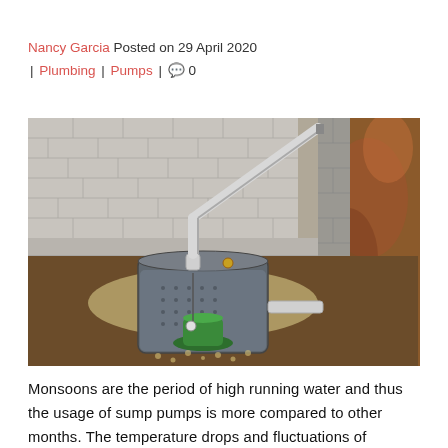Nancy Garcia Posted on 29 April 2020 | Plumbing | Pumps | 0
[Figure (illustration): 3D cutaway illustration of a sump pump installation in a basement, showing the sump pit with a green pump inside a grey cylindrical tank, discharge pipe running diagonally upward, concrete block foundation wall, gravel, and soil layers.]
Monsoons are the period of high running water and thus the usage of sump pumps is more compared to other months. The temperature drops and fluctuations of weather may result in water logging, flooding, and